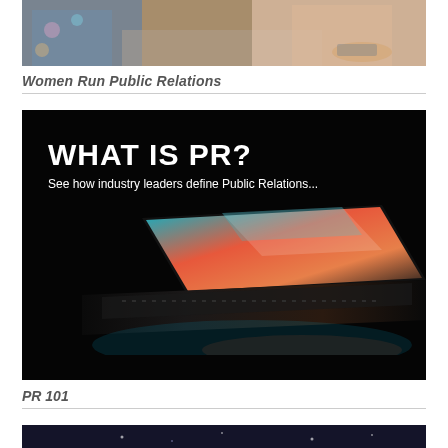[Figure (photo): Two women sitting together, one wearing a floral dress and one wearing a pink blazer, looking at a device]
Women Run Public Relations
[Figure (photo): Dark promotional image with text WHAT IS PR? See how industry leaders define Public Relations... with a laptop open showing colorful light reflections]
PR 101
[Figure (photo): Partial view of a dark scene, cut off at bottom of page]